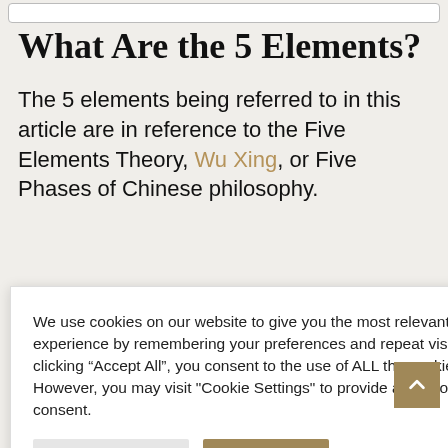What Are the 5 Elements?
The 5 elements being referred to in this article are in reference to the Five Elements Theory, Wu Xing, or Five Phases of Chinese philosophy.
We use cookies on our website to give you the most relevant experience by remembering your preferences and repeat visits. By clicking “Accept All”, you consent to the use of ALL the cookies. However, you may visit "Cookie Settings" to provide a controlled consent.
(partial) er, Wood, etween rious Shui, ar CM).